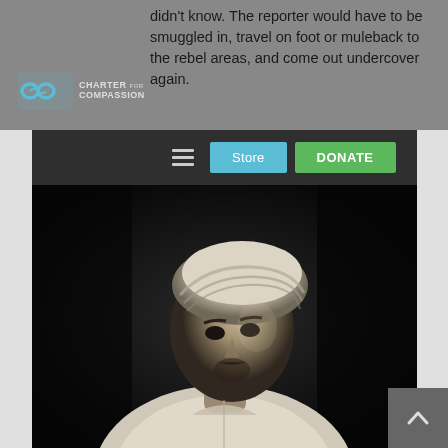didn't know. The reporter would have to be smuggled in, travel on foot or muleback to the rebel areas, and come out undercover again.
[Figure (logo): Charter for Compassion logo with infinity symbol in blue and organization name]
[Figure (photo): Black and white portrait photograph of a man wearing a white turban and white garment, looking downward to the right, dramatic lighting against dark background]
Store | DONATE navigation buttons with hamburger menu icon